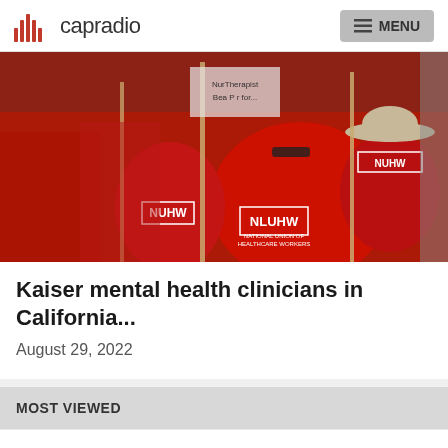capradio MENU
[Figure (photo): Workers in red NUHW (National Union of Healthcare Workers) t-shirts marching with picket signs on a street, appearing to be on strike or protest.]
Kaiser mental health clinicians in California...
August 29, 2022
MOST VIEWED
Brendan Fraser sheds tears for a standing ovation at the premiere of his comeback role